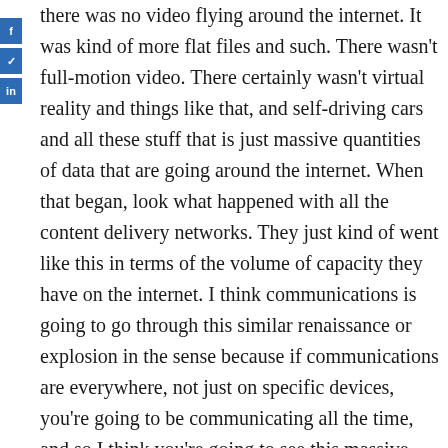there was no video flying around the internet. It was kind of more flat files and such. There wasn't full-motion video. There certainly wasn't virtual reality and things like that, and self-driving cars and all these stuff that is just massive quantities of data that are going around the internet. When that began, look what happened with all the content delivery networks. They just kind of went like this in terms of the volume of capacity they have on the internet. I think communications is going to go through this similar renaissance or explosion in the sense because if communications are everywhere, not just on specific devices, you're going to be communicating all the time, and so I think you're going to see this massive uplift in it. If it's a